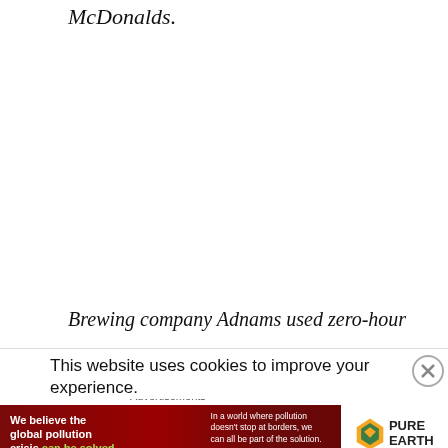McDonalds.
Brewing company Adnams used zero-hour
This website uses cookies to improve your experience.
Advertisements
[Figure (other): Advertisement banner for Pure Earth showing anti-pollution message: 'We believe the global pollution crisis can be solved. In a world where pollution doesn't stop at borders, we can all be part of the solution. JOIN US.' with Pure Earth diamond logo.]